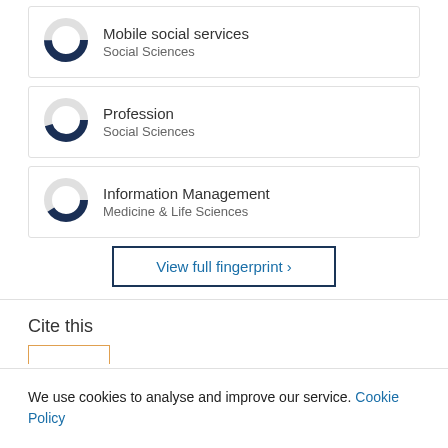[Figure (donut-chart): Partial donut chart, dark navy fill ~75%, grey background, representing Mobile social services - Social Sciences]
Mobile social services
Social Sciences
[Figure (donut-chart): Partial donut chart, dark navy fill ~70%, grey background, representing Profession - Social Sciences]
Profession
Social Sciences
[Figure (donut-chart): Partial donut chart, dark navy fill ~65%, grey background, representing Information Management - Medicine & Life Sciences]
Information Management
Medicine & Life Sciences
View full fingerprint ›
Cite this
We use cookies to analyse and improve our service. Cookie Policy